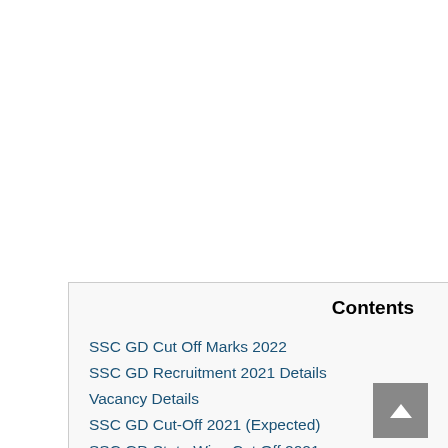Contents
SSC GD Cut Off Marks 2022
SSC GD Recruitment 2021 Details
Vacancy Details
SSC GD Cut-Off 2021 (Expected)
SSC GD State Wise Cut Off 2021